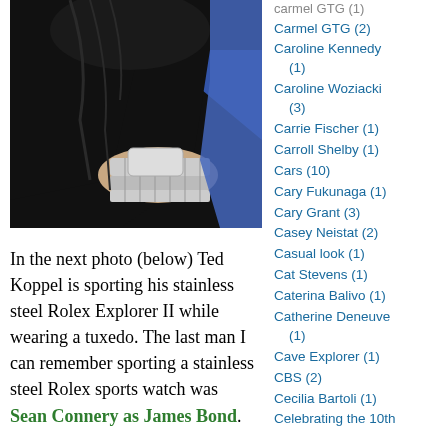[Figure (photo): Close-up photo of a person's wrist wearing a stainless steel Rolex Explorer II bracelet watch, with a dark suit jacket and blue shirt visible]
In the next photo (below) Ted Koppel is sporting his stainless steel Rolex Explorer II while wearing a tuxedo. The last man I can remember sporting a stainless steel Rolex sports watch was Sean Connery as James Bond.
Carmel GTG (2)
Caroline Kennedy (1)
Caroline Woziacki (3)
Carrie Fischer (1)
Carroll Shelby (1)
Cars (10)
Cary Fukunaga (1)
Cary Grant (3)
Casey Neistat (2)
Casual look (1)
Cat Stevens (1)
Caterina Balivo (1)
Catherine Deneuve (1)
Cave Explorer (1)
CBS (2)
Cecilia Bartoli (1)
Celebrating the 10th